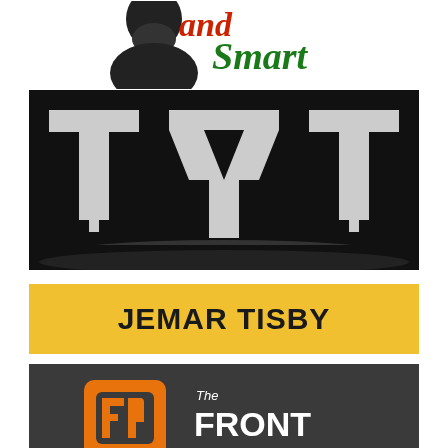[Figure (logo): Partially visible logo with a person figure and 'and Smart' text in script font, red and green colors]
[Figure (logo): TYT (The Young Turks) logo in black with large bold letters T, Y, T on a black rectangular background]
[Figure (logo): Jemar Tisby logo: bold text 'JEMAR TISBY' on yellow/gold background]
[Figure (logo): The Front Porch logo: orange speech-bubble icon with 'FP' and text 'The FRONT PORCH' on dark gray background]